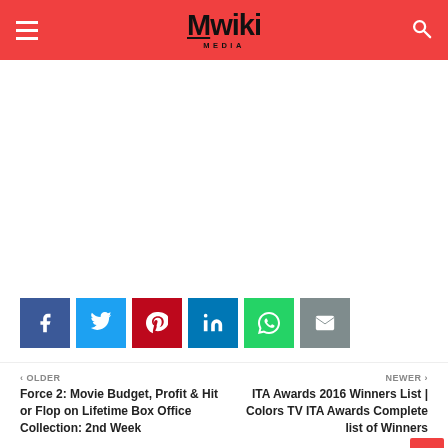Mwiki MEDIA
[Figure (other): White blank advertisement area]
[Figure (other): Social share buttons: Facebook, Twitter, Pinterest, LinkedIn, WhatsApp, Email]
< OLDER
Force 2: Movie Budget, Profit & Hit or Flop on Lifetime Box Office Collection: 2nd Week
NEWER >
ITA Awards 2016 Winners List | Colors TV ITA Awards Complete list of Winners